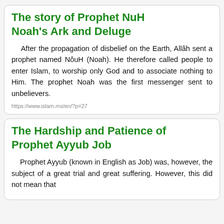The story of Prophet NuH Noah's Ark and Deluge
After the propagation of disbelief on the Earth, Allâh sent a prophet named NôuH (Noah). He therefore called people to enter Islam, to worship only God and to associate nothing to Him. The prophet Noah was the first messenger sent to unbelievers.
https://www.islam.ms/en/?p=27
The Hardship and Patience of Prophet Ayyub Job
Prophet Ayyub (known in English as Job) was, however, the subject of a great trial and great suffering. However, this did not mean that